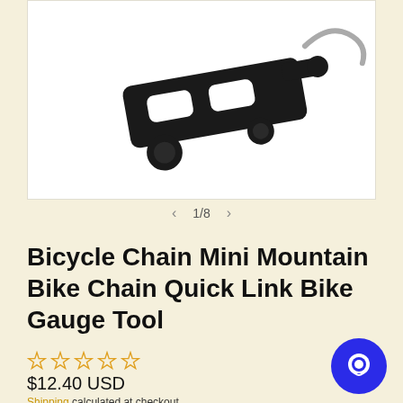[Figure (photo): Product photo of a black bicycle chain quick link / gauge tool on white background]
< 1/8 >
Bicycle Chain Mini Mountain Bike Chain Quick Link Bike Gauge Tool
[Figure (other): Five empty/outline star rating icons in yellow/gold color]
$12.40 USD
Shipping calculated at checkout.